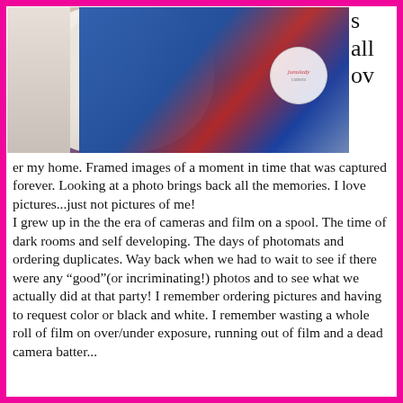[Figure (photo): A photo showing a fluffy white dog or fur object on the left, with a person in blue clothing on the right, and a circular logo/badge overlay reading 'junulady' and additional text.]
s all over my home. Framed images of a moment in time that was captured forever. Looking at a photo brings back all the memories. I love pictures...just not pictures of me!
I grew up in the the era of cameras and film on a spool. The time of dark rooms and self developing. The days of photomats and ordering duplicates. Way back when we had to wait to see if there were any “good”(or incriminating!) photos and to see what we actually did at that party! I remember ordering pictures and having to request color or black and white. I remember wasting a whole roll of film on over/under exposure, running out of film and a dead camera battery. I can of see...